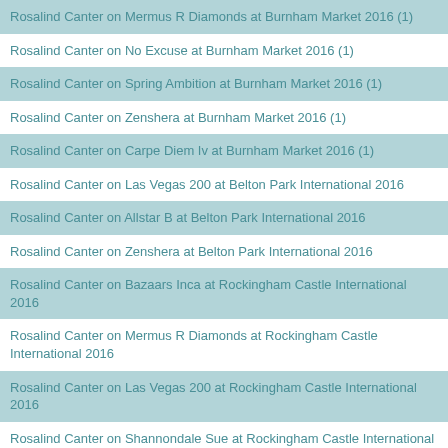Rosalind Canter on Mermus R Diamonds at Burnham Market 2016 (1)
Rosalind Canter on No Excuse at Burnham Market 2016 (1)
Rosalind Canter on Spring Ambition at Burnham Market 2016 (1)
Rosalind Canter on Zenshera at Burnham Market 2016 (1)
Rosalind Canter on Carpe Diem Iv at Burnham Market 2016 (1)
Rosalind Canter on Las Vegas 200 at Belton Park International 2016
Rosalind Canter on Allstar B at Belton Park International 2016
Rosalind Canter on Zenshera at Belton Park International 2016
Rosalind Canter on Bazaars Inca at Rockingham Castle International 2016
Rosalind Canter on Mermus R Diamonds at Rockingham Castle International 2016
Rosalind Canter on Las Vegas 200 at Rockingham Castle International 2016
Rosalind Canter on Shannondale Sue at Rockingham Castle International 2016
Rosalind Canter on No Excuse at Rockingham Castle International 2016
Rosalind Canter on Spring Ambition at Rockingham Castle International 2016
Rosalind Canter on Pencos Crown Jewel at Rockingham Castle International 2016
Rosalind Canter on Dhi Jura at Shelford Manor 2016 (1)